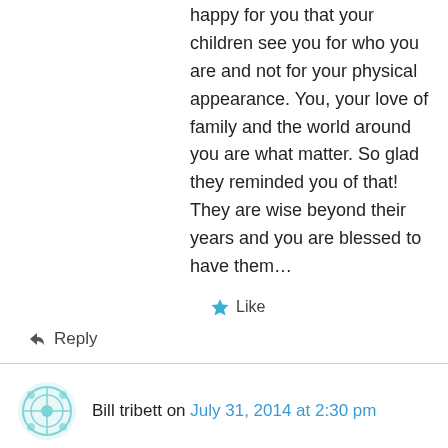happy for you that your children see you for who you are and not for your physical appearance. You, your love of family and the world around you are what matter. So glad they reminded you of that! They are wise beyond their years and you are blessed to have them…
★ Like
↳ Reply
Bill tribett on July 31, 2014 at 2:30 pm
Well said I agree hole heatedly
★ Like
↳ Reply